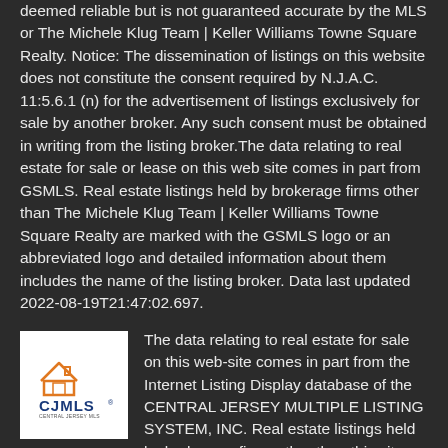deemed reliable but is not guaranteed accurate by the MLS or The Michele Klug Team | Keller Williams Towne Square Realty. Notice: The dissemination of listings on this website does not constitute the consent required by N.J.A.C. 11:5.6.1 (n) for the advertisement of listings exclusively for sale by another broker. Any such consent must be obtained in writing from the listing broker.The data relating to real estate for sale or lease on this web site comes in part from GSMLS. Real estate listings held by brokerage firms other than The Michele Klug Team | Keller Williams Towne Square Realty are marked with the GSMLS logo or an abbreviated logo and detailed information about them includes the name of the listing broker. Data last updated 2022-08-19T21:47:02.697.
[Figure (logo): CJMLS (Central Jersey Multiple Listing System) logo with orange house icon and CJMLS text on white background]
The data relating to real estate for sale on this web-site comes in part from the Internet Listing Display database of the CENTRAL JERSEY MULTIPLE LISTING SYSTEM, INC. Real estate listings held by brokerage firms other than this site-owner are marked with the ILD logo. The CENTRAL JERSEY MULTIPLE LISTING SYSTEM, INC does not warrant the accuracy, quality, reliability, suitability, completeness, usefulness or effectiveness of any information provided. Copyright 2022, CENTRAL JERSEY